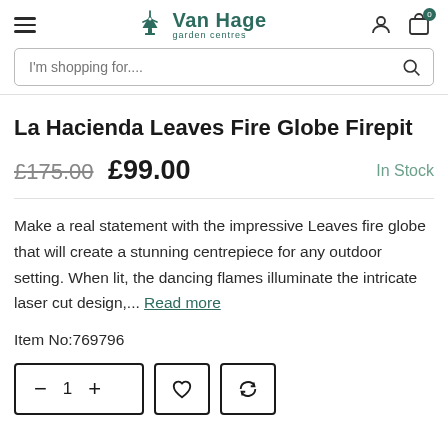Van Hage garden centres
La Hacienda Leaves Fire Globe Firepit
£175.00 £99.00  In Stock
Make a real statement with the impressive Leaves fire globe that will create a stunning centrepiece for any outdoor setting. When lit, the dancing flames illuminate the intricate laser cut design,... Read more
Item No:769796